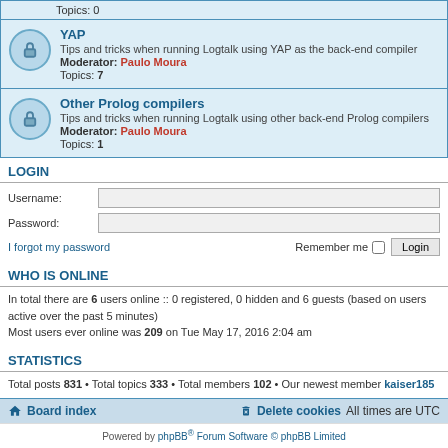Topics: 0
YAP
Tips and tricks when running Logtalk using YAP as the back-end compiler
Moderator: Paulo Moura
Topics: 7
Other Prolog compilers
Tips and tricks when running Logtalk using other back-end Prolog compilers
Moderator: Paulo Moura
Topics: 1
LOGIN
Username:
Password:
I forgot my password
Remember me
WHO IS ONLINE
In total there are 6 users online :: 0 registered, 0 hidden and 6 guests (based on users active over the past 5 minutes)
Most users ever online was 209 on Tue May 17, 2016 2:04 am
STATISTICS
Total posts 831 • Total topics 333 • Total members 102 • Our newest member kaiser185
Board index   Delete cookies   All times are UTC
Powered by phpBB® Forum Software © phpBB Limited